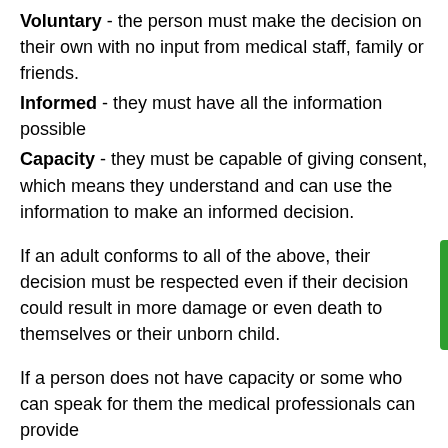Voluntary - the person must make the decision on their own with no input from medical staff, family or friends.
Informed - they must have all the information possible
Capacity - they must be capable of giving consent, which means they understand and can use the information to make an informed decision.
If an adult conforms to all of the above, their decision must be respected even if their decision could result in more damage or even death to themselves or their unborn child.
If a person does not have capacity or some who can speak for them the medical professionals can provide